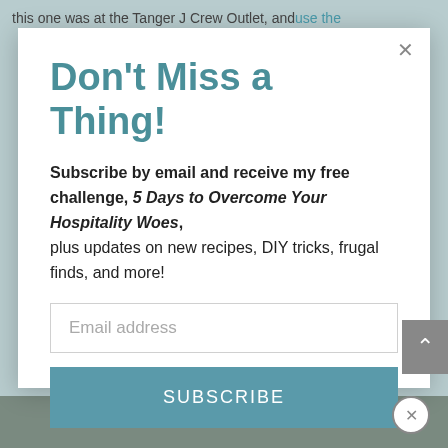this one was at the Tanger J Crew Outlet, and use the
Don't Miss a Thing!
Subscribe by email and receive my free challenge, 5 Days to Overcome Your Hospitality Woes, plus updates on new recipes, DIY tricks, frugal finds, and more!
Email address
SUBSCRIBE